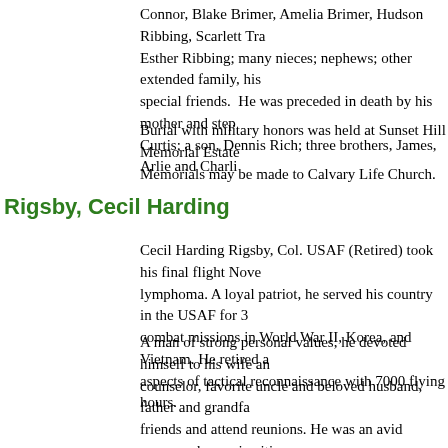Connor, Blake Brimer, Amelia Brimer, Hudson Ribbing, Scarlett Tra Esther Ribbing; many nieces; nephews; other extended family, his special friends.  He was preceded in death by his mother and step Curtis; a son, Dennis Rich; three brothers, James, Arlie and Charli
Burial with military honors was held at Sunset Hill Memorial Estate Memorials may be made to Calvary Life Church.
Rigsby, Cecil Harding
Cecil Harding Rigsby, Col. USAF (Retired) took his final flight Nove lymphoma. A loyal patriot, he served his country in the USAF for 3 combat missions in World War II, Korea, and Vietnam. He retired a aspects of tactical reconnaissance with 7000 flying hours.
A man of strong personal values, he devoted himself to his wife an counselor, favorite uncle and beloved husband, father and grandfa friends and attend reunions. He was an avid runner, who ran in citi the gym, inspiring many by his example. An active citizen, Cecil wr candidates, Governors and other officials offering his advice and p of the North Austin Civic Association. He was honored by Governo War II Memorial was dedicated.
Born September 1, 1922 in Tallassee, Alabama, the youngest of ei 1924. He grew up in Dallas, graduated from Dallas Technical High Citizenship Award. He enlisted in the 112th Cavalry Texas Nationa Corps in 1941 where he became one of the first Flying Sergeants. while serving in New Guinea during World War II with the 8th Phot flew 91 combat missions in the P-38. On January 9, 1946 he beca Army Air Forces.